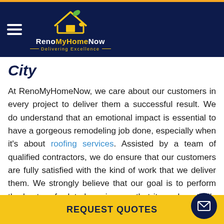RenoMyHomeNow — Delivering Excellence
City
At RenoMyHomeNow, we care about our customers in every project to deliver them a successful result. We do understand that an emotional impact is essential to have a gorgeous remodeling job done, especially when it's about roofing services. Assisted by a team of qualified contractors, we do ensure that our customers are fully satisfied with the kind of work that we deliver them. We strongly believe that our goal is to perform the best roof related services so that it can beautifully fit your lifestyle and budget. As a responsible remodeling platform, we always believe that residential
REQUEST QUOTES